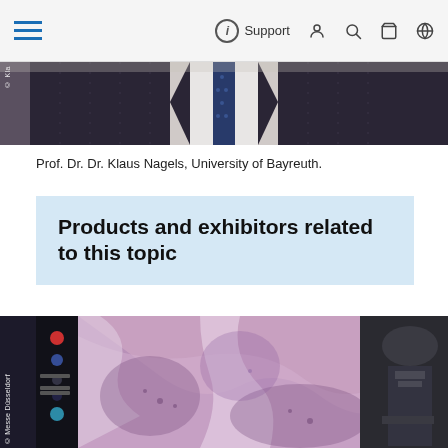Support
[Figure (photo): Cropped photo of Prof. Dr. Dr. Klaus Nagels in a suit, upper body, with © Kla watermark]
Prof. Dr. Dr. Klaus Nagels, University of Bayreuth.
Products and exhibitors related to this topic
[Figure (photo): Microscope image shown on a digital screen, with a microscope visible on the right side. © Messe Düsseldorf watermark.]